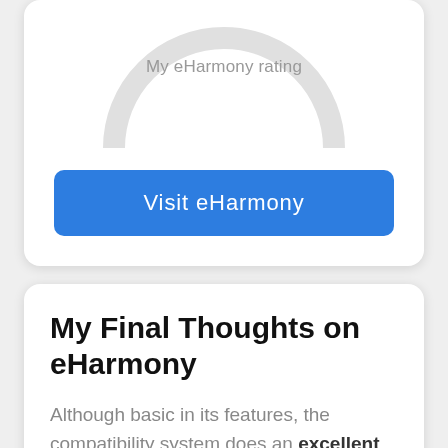[Figure (donut-chart): Partially visible donut/ring chart labeled 'My eHarmony rating' at the top, shown cropped at the top of the page]
Visit eHarmony
My Final Thoughts on eHarmony
Although basic in its features, the compatibility system does an excellent job of matching the right people based on